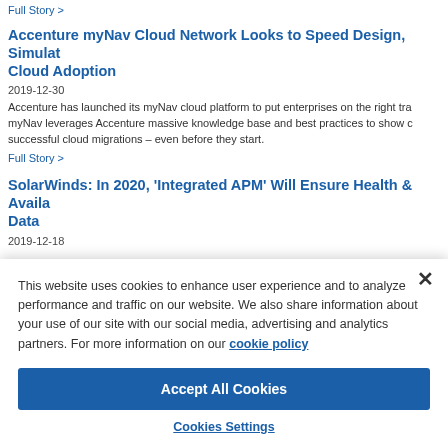Full Story >
Accenture myNav Cloud Network Looks to Speed Design, Simula... Cloud Adoption
2019-12-30
Accenture has launched its myNav cloud platform to put enterprises on the right tra... myNav leverages Accenture massive knowledge base and best practices to show c... successful cloud migrations – even before they start.
Full Story >
SolarWinds: In 2020, 'Integrated APM' Will Ensure Health & Availa... Data
2019-12-18
This website uses cookies to enhance user experience and to analyze performance and traffic on our website. We also share information about your use of our site with our social media, advertising and analytics partners. For more information on our cookie policy
Accept All Cookies
Cookies Settings